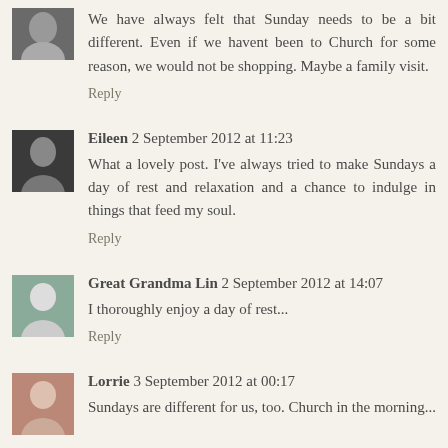We have always felt that Sunday needs to be a bit different. Even if we havent been to Church for some reason, we would not be shopping. Maybe a family visit.
Reply
Eileen 2 September 2012 at 11:23
What a lovely post. I've always tried to make Sundays a day of rest and relaxation and a chance to indulge in things that feed my soul.
Reply
Great Grandma Lin 2 September 2012 at 14:07
I thoroughly enjoy a day of rest...
Reply
Lorrie 3 September 2012 at 00:17
Sundays are different for us, too. Church in the morning...